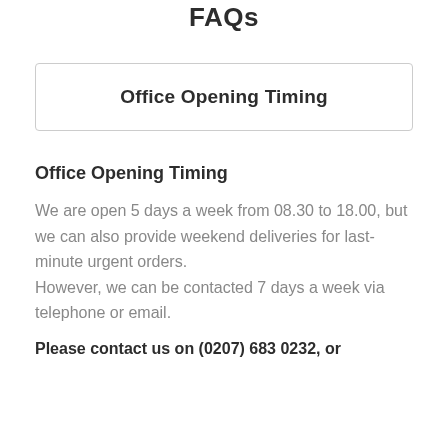FAQs
Office Opening Timing
Office Opening Timing
We are open 5 days a week from 08.30 to 18.00, but we can also provide weekend deliveries for last-minute urgent orders.
However, we can be contacted 7 days a week via telephone or email.
Please contact us on (0207) 683 0232, or